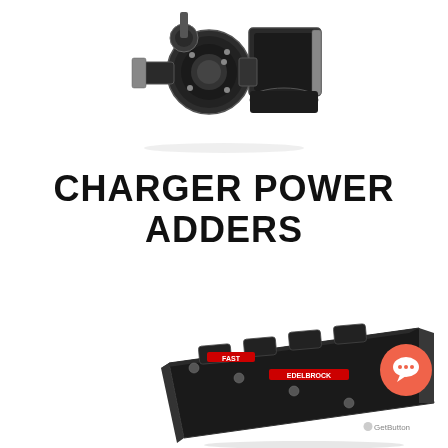[Figure (photo): Turbocharger / supercharger unit with intake pipe, silver and black metallic parts on white background]
CHARGER POWER ADDERS
VIEW ALL
[Figure (photo): Black aftermarket intake manifold with red branding text, angled product shot on white background]
[Figure (other): Orange circular chat support button with speech bubble icon, labeled GetButton]